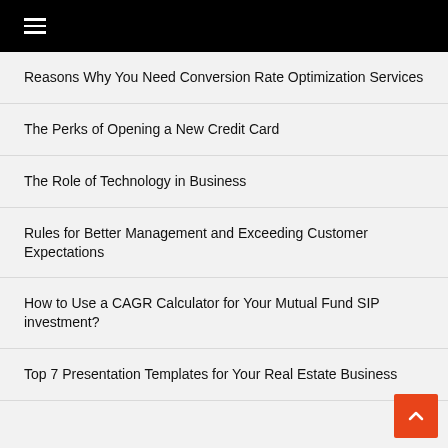≡
Reasons Why You Need Conversion Rate Optimization Services
The Perks of Opening a New Credit Card
The Role of Technology in Business
Rules for Better Management and Exceeding Customer Expectations
How to Use a CAGR Calculator for Your Mutual Fund SIP investment?
Top 7 Presentation Templates for Your Real Estate Business